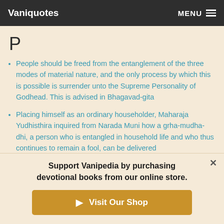Vaniquotes | MENU
P
People should be freed from the entanglement of the three modes of material nature, and the only process by which this is possible is surrender unto the Supreme Personality of Godhead. This is advised in Bhagavad-gita
Placing himself as an ordinary householder, Maharaja Yudhisthira inquired from Narada Muni how a grha-mudha-dhi, a person who is entangled in household life and who thus continues to remain a fool, can be delivered
Brahmavats might argue that Lord Brahma was suggesting...
Support Vanipedia by purchasing devotional books from our online store.
Visit Our Shop